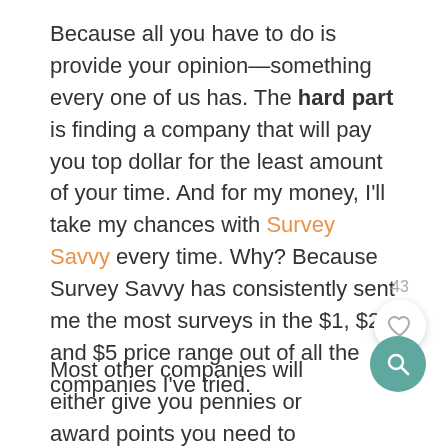Because all you have to do is provide your opinion—something every one of us has. The hard part is finding a company that will pay you top dollar for the least amount of your time. And for my money, I'll take my chances with Survey Savvy every time. Why? Because Survey Savvy has consistently sent me the most surveys in the $1, $2, and $5 price range out of all the companies I've tried.
Most other companies will either give you pennies or award points you need to accumulate & convert into a few dollars. Additionally, joining the Survey Savvy team will allow even more money-making opportunities.